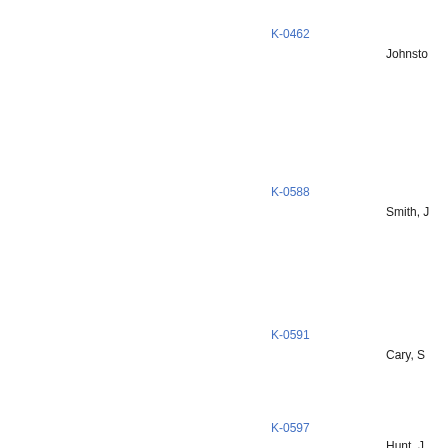K-0462
Johnsto
K-0588
Smith, J
K-0591
Cary, S
K-0597
Hunt, J